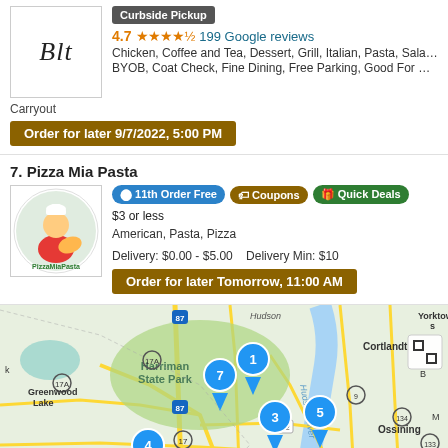[Figure (logo): BLT restaurant logo in cursive script]
Curbside Pickup
4.7 ★★★★½ 199 Google reviews
Chicken, Coffee and Tea, Dessert, Grill, Italian, Pasta, Salads, So...
BYOB, Coat Check, Fine Dining, Free Parking, Good For Group, ...
Carryout
Order for later 9/7/2022, 5:00 PM
7. Pizza Mia Pasta
[Figure (logo): Pizza Mia Pasta logo with cartoon chef holding pizza]
11th Order Free   Coupons   Quick Deals   $3 or less
American, Pasta, Pizza
Delivery: $0.00 - $5.00    Delivery Min: $10
Order for later Tomorrow, 11:00 AM
[Figure (map): Google Maps showing Harriman State Park area with numbered restaurant pins 1, 3, 4, 5, 7 near Spring Valley, Ossining, Cortlandt, and Greenwood Lake area]